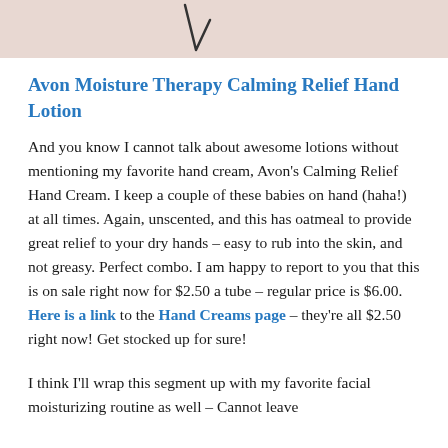[Figure (illustration): Top portion of a product image with a checkmark or cursive letter visible on a light pinkish-beige background]
Avon Moisture Therapy Calming Relief Hand Lotion
And you know I cannot talk about awesome lotions without mentioning my favorite hand cream, Avon's Calming Relief Hand Cream. I keep a couple of these babies on hand (haha!) at all times. Again, unscented, and this has oatmeal to provide great relief to your dry hands – easy to rub into the skin, and not greasy. Perfect combo. I am happy to report to you that this is on sale right now for $2.50 a tube – regular price is $6.00. Here is a link to the Hand Creams page – they're all $2.50 right now! Get stocked up for sure!
I think I'll wrap this segment up with my favorite facial moisturizing routine as well – Cannot leave